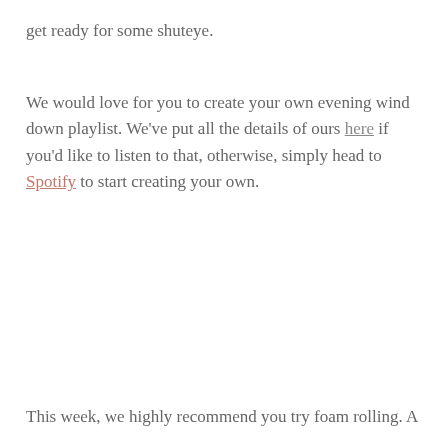get ready for some shuteye.
We would love for you to create your own evening wind down playlist. We've put all the details of ours here if you'd like to listen to that, otherwise, simply head to Spotify to start creating your own.
This week, we highly recommend you try foam rolling. A